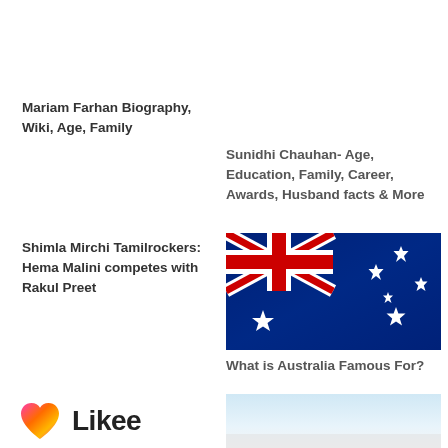Mariam Farhan Biography, Wiki, Age, Family
Sunidhi Chauhan- Age, Education, Family, Career, Awards, Husband facts & More
Shimla Mirchi Tamilrockers: Hema Malini competes with Rakul Preet
[Figure (photo): Australian flag waving, blue background with Union Jack and stars]
What is Australia Famous For?
[Figure (logo): Likee app logo with colorful heart icon and Likee text]
[Figure (photo): Partial image at bottom right, appears to be a sky or landscape photo]